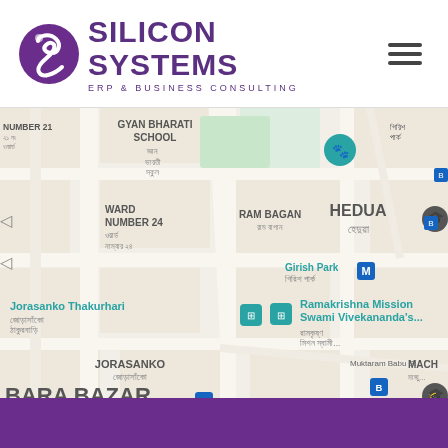[Figure (logo): Silicon Systems ERP & Business Consulting logo with purple dragon/S icon]
[Figure (map): Google Maps view of Kolkata area showing Gyan Bharati School, Ward Number 24, RAM BAGAN, HEDUA, Girish Park metro station, Jorasanko Thakurbari, Ramakrishna Mission Swami Vivekananda's, JORASANKO, BARA BAZAR, Mahatma Gandhi Road metro, Burman Street Crossing, Muktaram Babu St in Bangla and English labels]